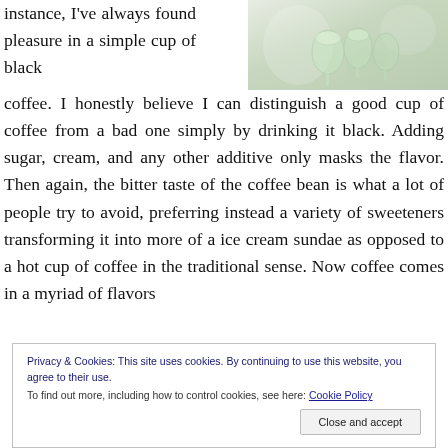instance, I've always found pleasure in a simple cup of black coffee. I honestly believe I can distinguish a good cup of coffee from a bad one simply by drinking it black. Adding sugar, cream, and any other additive only masks the flavor. Then again, the bitter taste of the coffee bean is what a lot of people try to avoid, preferring instead a variety of sweeteners transforming it into more of a ice cream sundae as opposed to a hot cup of coffee in the traditional sense. Now coffee comes in a myriad of flavors
[Figure (photo): Photo of glass cups/glasses with green tinted liquid, blurred background]
Privacy & Cookies: This site uses cookies. By continuing to use this website, you agree to their use.
To find out more, including how to control cookies, see here: Cookie Policy
Close and accept